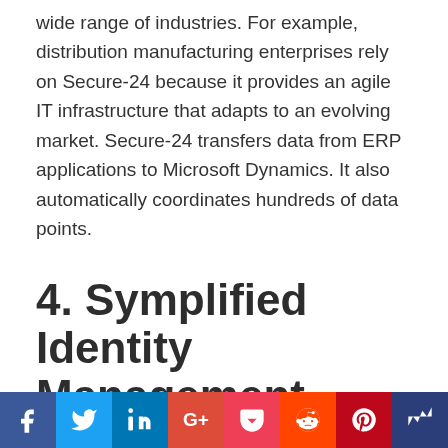wide range of industries. For example, distribution manufacturing enterprises rely on Secure-24 because it provides an agile IT infrastructure that adapts to an evolving market. Secure-24 transfers data from ERP applications to Microsoft Dynamics. It also automatically coordinates hundreds of data points.
4. Symplified Identity Management (SIM)